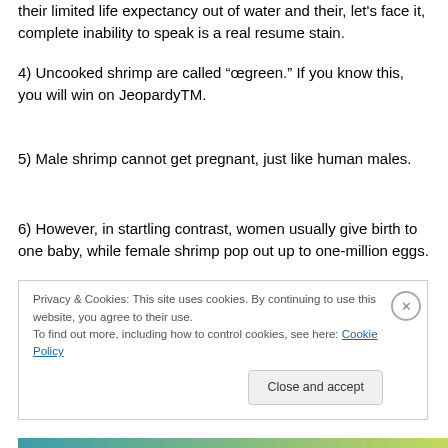their limited life expectancy out of water and their, let's face it, complete inability to speak is a real resume stain.
4) Uncooked shrimp are called “œgreen.” If you know this, you will win on JeopardyTM.
5) Male shrimp cannot get pregnant, just like human males.
6) However, in startling contrast, women usually give birth to one baby, while female shrimp pop out up to one-million eggs.
Privacy & Cookies: This site uses cookies. By continuing to use this website, you agree to their use.
To find out more, including how to control cookies, see here: Cookie Policy